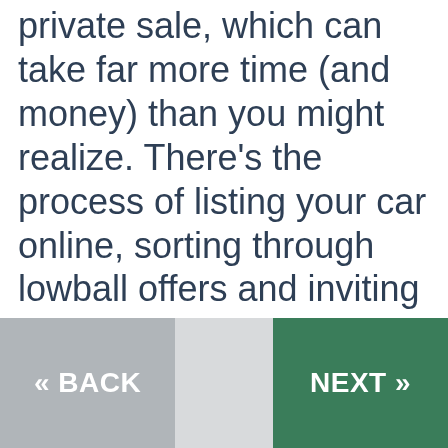private sale, which can take far more time (and money) than you might realize. There's the process of listing your car online, sorting through lowball offers and inviting strangers to come to your house and check the vehicle out. You might even need to spend extra money on repairs just to ensure your junk car is safe enough to sell.
What is Direct Buying...
« BACK    NEXT »